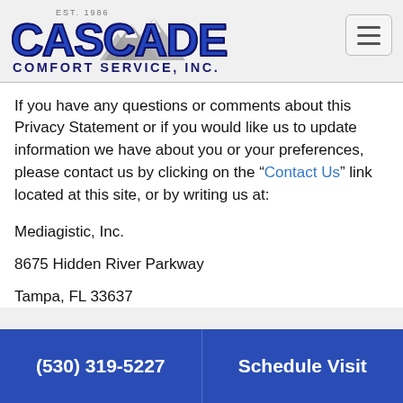[Figure (logo): Cascade Comfort Service, Inc. logo with mountain illustration, EST. 1986]
If you have any questions or comments about this Privacy Statement or if you would like us to update information we have about you or your preferences, please contact us by clicking on the “Contact Us” link located at this site, or by writing us at:
Mediagistic, Inc.
8675 Hidden River Parkway
Tampa, FL 33637
(530) 319-5227   Schedule Visit